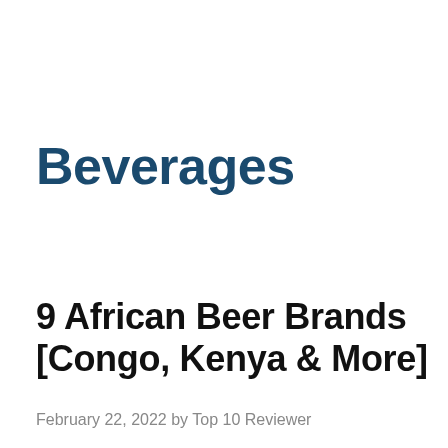Beverages
9 African Beer Brands [Congo, Kenya & More]
February 22, 2022 by Top 10 Reviewer